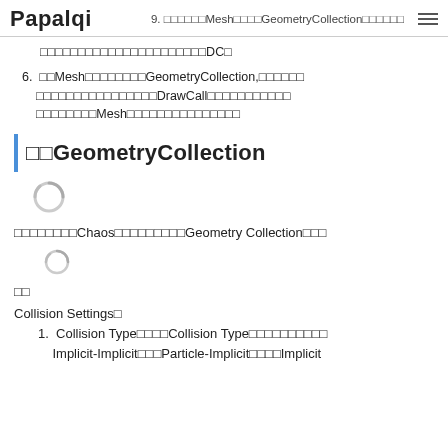Papalqi
5. □□□□□□Mesh□□□□GeometryCollection□□□□□□□□□□□□□□□□□□□□□□□□□DC□
6. □□Mesh□□□□□□□□GeometryCollection,□□□□□□□□□□□□□□□□□□□□□□□□DrawCall□□□□□□□□□□□□□□□□□□Mesh□□□□□□□□□□□□□□□□
□□GeometryCollection
[Figure (other): Loading spinner icon (gray circular spinner)]
□□□□□□□□Chaos□□□□□□□□□Geometry Collection□□□
[Figure (other): Loading spinner icon (gray circular spinner, smaller)]
□□
Collision Settings□
1. Collision Type□□□□Collision Type□□□□□□□□□□Implicit-Implicit□□□Particle-Implicit□□□□Implicit